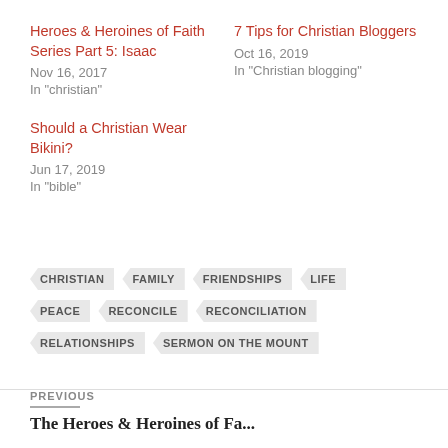Heroes & Heroines of Faith Series Part 5: Isaac
Nov 16, 2017
In "christian"
7 Tips for Christian Bloggers
Oct 16, 2019
In "Christian blogging"
Should a Christian Wear Bikini?
Jun 17, 2019
In "bible"
CHRISTIAN  FAMILY  FRIENDSHIPS  LIFE  PEACE  RECONCILE  RECONCILIATION  RELATIONSHIPS  SERMON ON THE MOUNT
PREVIOUS
The Heroes & Heroines of Fa...